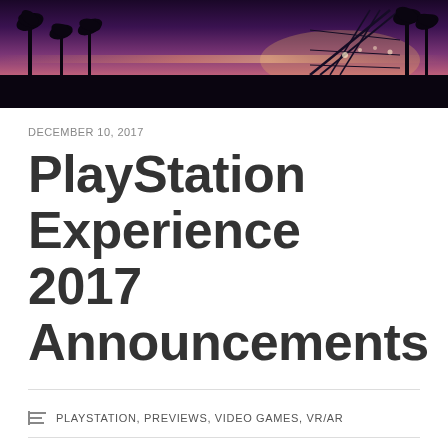[Figure (photo): Header image showing a purple/pink twilight sky with palm tree silhouettes and a roller coaster structure against a glowing horizon]
DECEMBER 10, 2017
PlayStation Experience 2017 Announcements
PLAYSTATION, PREVIEWS, VIDEO GAMES, VR/AR
ANNOUNCEMENTS, DONUT COUNTY, GOD OF WAR, NEWS, PS4, PSVR, PSX 2017, THE LAST GUARDIAN, THE LAST OF US PART II, WIPEOUT